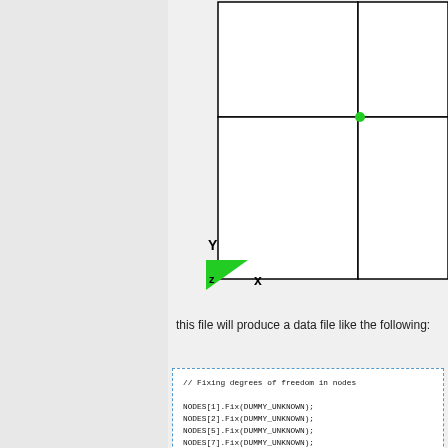[Figure (engineering-diagram): FEM mesh diagram showing a 2x2 grid of rectangular elements with a green node marker at the intersection point (upper right area). Coordinate axes shown at lower left: Y pointing up, X pointing right, Z label on green triangle.]
this file will produce a data file like the following:
// Fixing degrees of freedom in nodes

NODES[1].Fix(DUMMY_UNKNOWN);
NODES[2].Fix(DUMMY_UNKNOWN);
NODES[5].Fix(DUMMY_UNKNOWN);
NODES[7].Fix(DUMMY_UNKNOWN);
NODES[8].Fix(DUMMY_UNKNOWN);
NODES[9].Fix(DUMMY_UNKNOWN);

NODES[4].Fix(DUMMY_POINT_SOURCE);